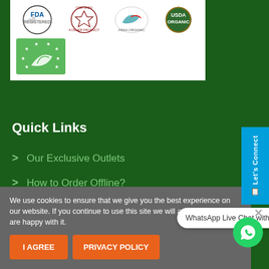[Figure (logo): Certification logos panel: FDA Registered, Kosher Product Certified, India Organic, USDA Organic, and EU Organic (green leaf with stars)]
Quick Links
Our Exclusive Outlets
How to Order Offline?
We use cookies to ensure that we give you the best experience on our website. If you continue to use this site we will assume that you are happy with it.
WhatsApp Live Chat with our Experts
I AGREE
PRIVACY POLICY
Let's Connect